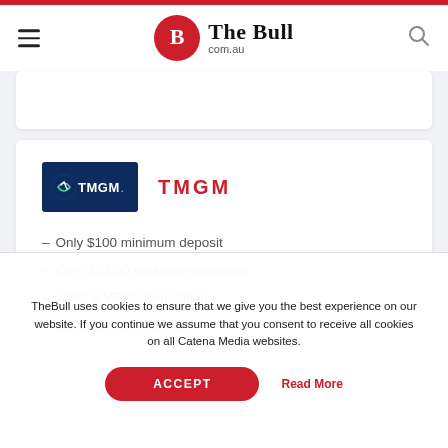The Bull com.au
[Figure (logo): TMGM logo on dark navy background with white icon and text]
TMGM
Only $100 minimum deposit
Over 15,000 trading instruments
ASIC & VFSC Regulation
Spreads from 0.0 Pips
TheBull uses cookies to ensure that we give you the best experience on our website. If you continue we assume that you consent to receive all cookies on all Catena Media websites.
ACCEPT
Read More